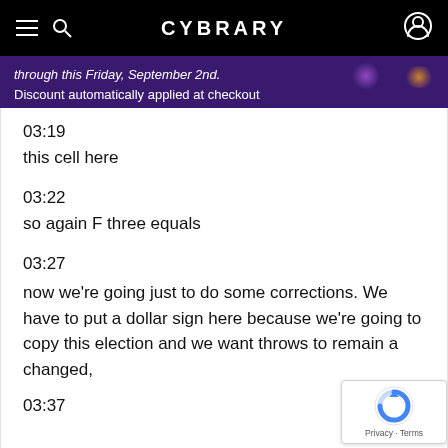CYBRARY
through this Friday, September 2nd. Discount automatically applied at checkout
03:19
this cell here
03:22
so again F three equals
03:27
now we're going just to do some corrections. We have to put a dollar sign here because we're going to copy this election and we want throws to remain a changed,
03:37